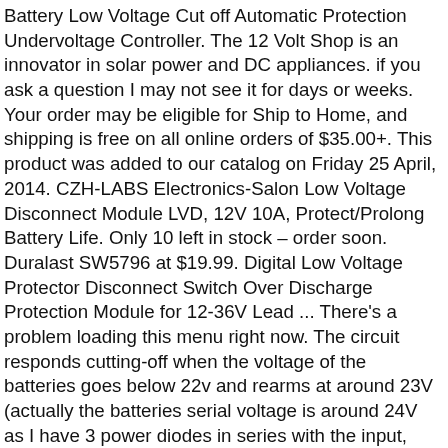Battery Low Voltage Cut off Automatic Protection Undervoltage Controller. The 12 Volt Shop is an innovator in solar power and DC appliances. if you ask a question I may not see it for days or weeks. Your order may be eligible for Ship to Home, and shipping is free on all online orders of $35.00+. This product was added to our catalog on Friday 25 April, 2014. CZH-LABS Electronics-Salon Low Voltage Disconnect Module LVD, 12V 10A, Protect/Prolong Battery Life. Only 10 left in stock – order soon. Duralast SW5796 at $19.99. Digital Low Voltage Protector Disconnect Switch Over Discharge Protection Module for 12-36V Lead ... There's a problem loading this menu right now. The circuit responds cutting-off when the voltage of the batteries goes below 22v and rearms at around 23V (actually the batteries serial voltage is around 24V as I have 3 power diodes in series with the input, which reduce the measured voltage at the Zener